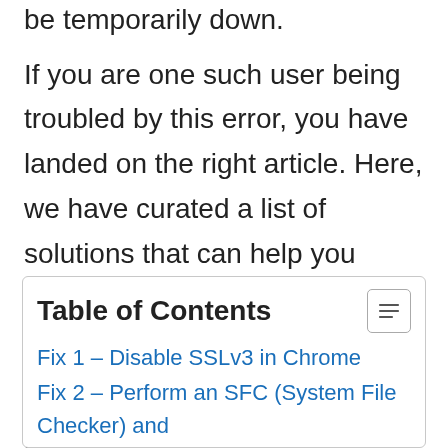be temporarily down.
If you are one such user being troubled by this error, you have landed on the right article. Here, we have curated a list of solutions that can help you overcome this error in Google Chrome. Before trying the fixes below, try disabling your third-party antivirus software and check if the problem can be resolved.
Table of Contents
Fix 1 – Disable SSLv3 in Chrome
Fix 2 – Perform an SFC (System File Checker) and DISM Scan